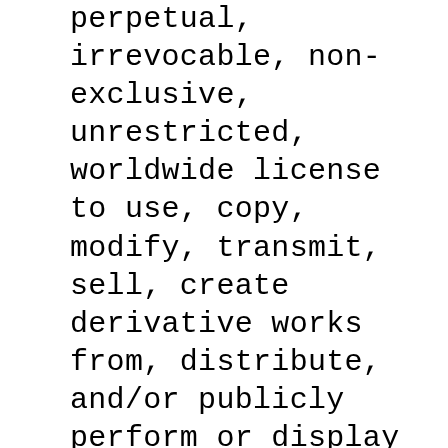perpetual, irrevocable, non-exclusive, unrestricted, worldwide license to use, copy, modify, transmit, sell, create derivative works from, distribute, and/or publicly perform or display such material, in whole or in part, in any manner or medium, now known or hereafter developed, for any purpose. The foregoing grant shall include the right to exploit any proprietary rights in such posting or submission, including, but not limited to, rights under copyright